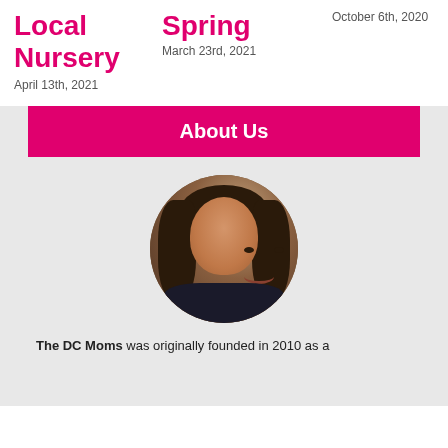Local Nursery
April 13th, 2021
Spring
March 23rd, 2021
October 6th, 2020
About Us
[Figure (photo): Circular portrait photo of a woman with curly dark hair, smiling]
The DC Moms was originally founded in 2010 as a